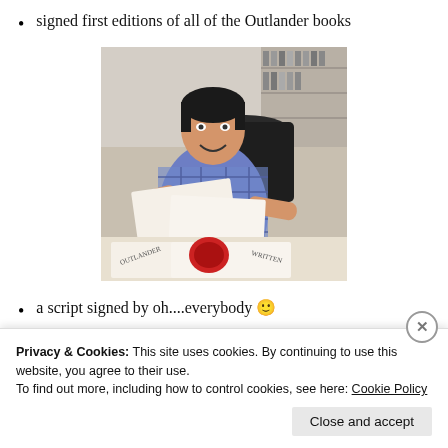signed first editions of all of the Outlander books
[Figure (photo): A woman sitting at a desk signing books. She is smiling and wearing a plaid/checkered shirt. There are bookshelves in the background and open books with a red wax seal on the desk in front of her.]
a script signed by oh....everybody 🙂
Privacy & Cookies: This site uses cookies. By continuing to use this website, you agree to their use.
To find out more, including how to control cookies, see here: Cookie Policy
Close and accept